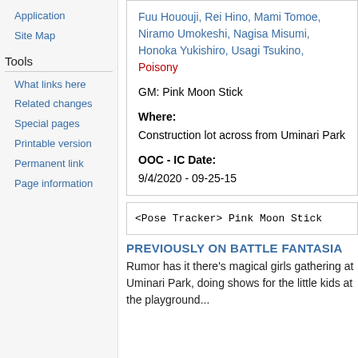Application
Site Map
Tools
What links here
Related changes
Special pages
Printable version
Permanent link
Page information
| Fuu Hououji, Rei Hino, Mami Tomoe, Niramo Umokeshi, Nagisa Misumi, Honoka Yukishiro, Usagi Tsukino, Poisony |
| GM: Pink Moon Stick |
| Where: | Construction lot across from Uminari Park |
| OOC - IC Date: | 9/4/2020 - 09-25-15 |
<Pose Tracker> Pink Moon Stick
PREVIOUSLY ON BATTLE FANTASIA
Rumor has it there's magical girls gathering at Uminari Park, doing shows for the little kids at the playground...